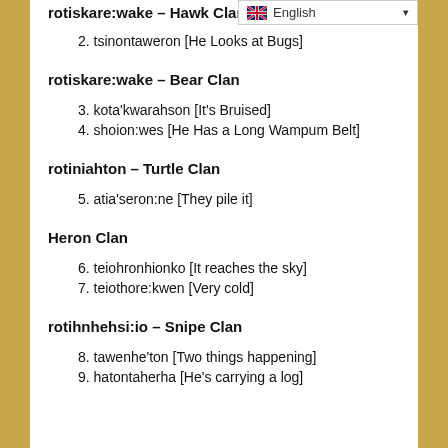rotiskare:wake – Bear Clan
2. tsinontaweron [He Looks at Bugs]
rotiskare:wake – Bear Clan
3. kota'kwarahson [It's Bruised]
4. shoion:wes [He Has a Long Wampum Belt]
rotiniahton – Turtle Clan
5. atia'seron:ne [They pile it]
Heron Clan
6. teiohronhionko [It reaches the sky]
7. teiothore:kwen [Very cold]
rotihnhehsi:io – Snipe Clan
8. tawenhe'ton [Two things happening]
9. hatontaherha [He's carrying a log]